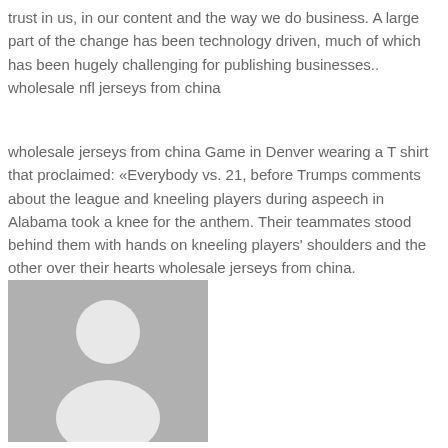trust in us, in our content and the way we do business. A large part of the change has been technology driven, much of which has been hugely challenging for publishing businesses.. wholesale nfl jerseys from china
wholesale jerseys from china Game in Denver wearing a T shirt that proclaimed: «Everybody vs. 21, before Trumps comments about the league and kneeling players during aspeech in Alabama took a knee for the anthem. Their teammates stood behind them with hands on kneeling players' shoulders and the other over their hearts wholesale jerseys from china.
[Figure (illustration): Generic grey placeholder avatar image showing a silhouette of a person (head and shoulders) in white on a grey background.]